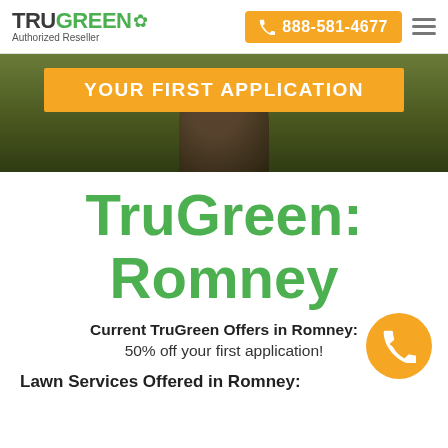TRUGREEN Authorized Reseller | 888-581-4677
[Figure (screenshot): Hero banner with dark green grass background and orange 'YOUR FIRST APPLICATION' offer bar]
TruGreen: Romney
Current TruGreen Offers in Romney: 50% off your first application!
Lawn Services Offered in Romney: